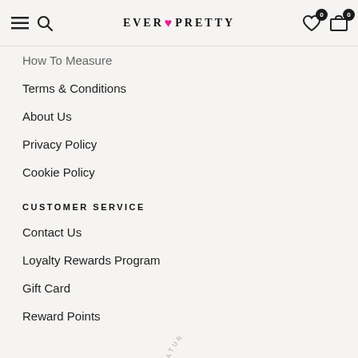EVER PRETTY — navigation header with search, wishlist and cart icons
How To Measure
Terms & Conditions
About Us
Privacy Policy
Cookie Policy
CUSTOMER SERVICE
Contact Us
Loyalty Rewards Program
Gift Card
Reward Points
AWARDS WE EARNED
[Figure (logo): Carats & Cake featured on badge with arc text 'FEATURED ON' above a rectangular box containing 'CARATS & CAKE']